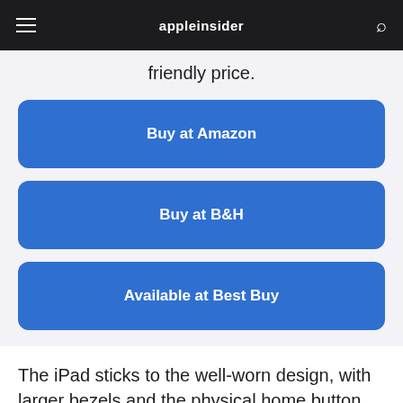appleinsider
friendly price.
Buy at Amazon
Buy at B&H
Available at Best Buy
The iPad sticks to the well-worn design, with larger bezels and the physical home button on the front. Packing the 10.2-inch screen from its